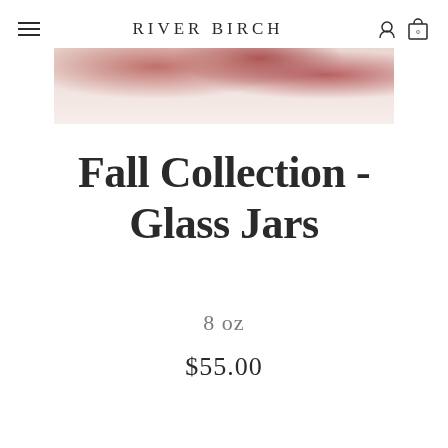RIVER BIRCH
[Figure (photo): Top portion of a product image showing floral/botanical elements with red berries or flowers against a light pink/cream background]
Fall Collection - Glass Jars
8 oz
$55.00